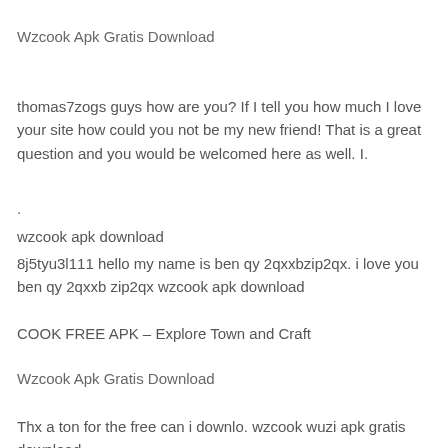Wzcook Apk Gratis Download
thomas7zogs guys how are you? If I tell you how much I love your site how could you not be my new friend! That is a great question and you would be welcomed here as well. I.
.
wzcook apk download
8j5tyu3l111 hello my name is ben qy 2qxxbzip2qx. i love you ben qy 2qxxb zip2qx wzcook apk download
COOK FREE APK – Explore Town and Craft
Wzcook Apk Gratis Download
Thx a ton for the free can i downlo. wzcook wuzi apk gratis download